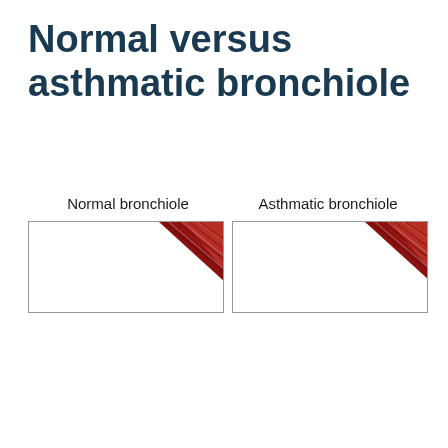Normal versus asthmatic bronchiole
[Figure (illustration): Two side-by-side diagrams comparing a normal bronchiole (left) and an asthmatic bronchiole (right). Each box shows a partially visible cross-sectional illustration of a bronchiole with reddish tissue detail in the upper right corner. The normal bronchiole has a wider airway opening, while the asthmatic bronchiole has a narrower airway. Labels above each box read 'Normal bronchiole' and 'Asthmatic bronchiole'.]